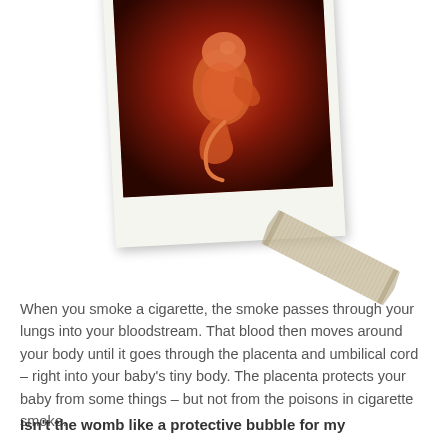[Figure (illustration): A polaroid-style photograph of a fetus in the womb, shown against a deep red glowing background suggestive of the womb interior. The image is tilted slightly and has a piece of tape affixed to its lower-right corner.]
When you smoke a cigarette, the smoke passes through your lungs into your bloodstream. That blood then moves around your body until it goes through the placenta and umbilical cord – right into your baby's tiny body. The placenta protects your baby from some things – but not from the poisons in cigarette smoke.
Isn't the womb like a protective bubble for my